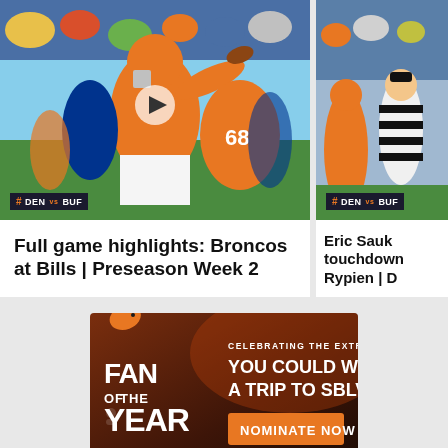[Figure (photo): Football player in Denver Broncos orange jersey #4 throwing a pass, with player #68 visible, DEN vs BUF badge overlay]
Full game highlights: Broncos at Bills | Preseason Week 2
[Figure (photo): Referee and Broncos player sideline scene, DEN vs BUF badge overlay, partially cropped]
Eric Sauk touchdown Rypien |
[Figure (infographic): Denver Broncos Fan of the Year advertisement: Celebrating the Extraordinary — You Could Win a Trip to SBLVII — Nominate Now button]